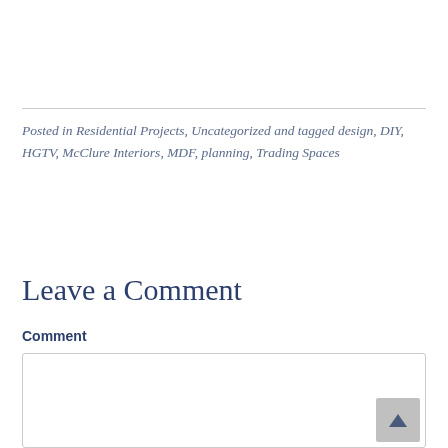Posted in Residential Projects, Uncategorized and tagged design, DIY, HGTV, McClure Interiors, MDF, planning, Trading Spaces
Leave a Comment
Comment